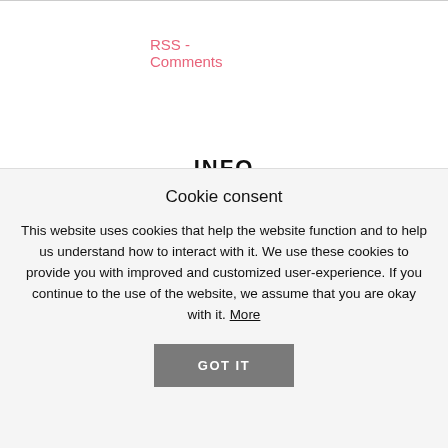RSS - Comments
INFO
Cookie Policy
Disclaimer
Privacy Policy
Cookie consent
This website uses cookies that help the website function and to help us understand how to interact with it. We use these cookies to provide you with improved and customized user-experience. If you continue to the use of the website, we assume that you are okay with it. More